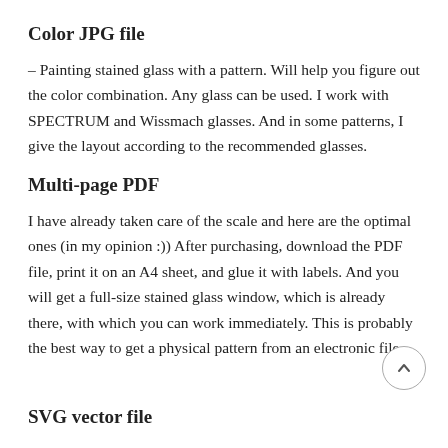Color JPG file
– Painting stained glass with a pattern. Will help you figure out the color combination. Any glass can be used. I work with SPECTRUM and Wissmach glasses. And in some patterns, I give the layout according to the recommended glasses.
Multi-page PDF
I have already taken care of the scale and here are the optimal ones (in my opinion :)) After purchasing, download the PDF file, print it on an A4 sheet, and glue it with labels. And you will get a full-size stained glass window, which is already there, with which you can work immediately. This is probably the best way to get a physical pattern from an electronic file.
SVG vector file